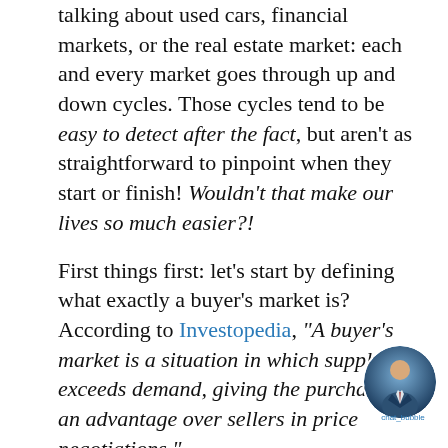talking about used cars, financial markets, or the real estate market: each and every market goes through up and down cycles. Those cycles tend to be easy to detect after the fact, but aren't as straightforward to pinpoint when they start or finish! Wouldn't that make our lives so much easier?!
First things first: let's start by defining what exactly a buyer's market is? According to Investopedia, "A buyer's market is a situation in which supply exceeds demand, giving the purchasers an advantage over sellers in price negotiations."
In other words, with fewer buyers than sellers, those buyers are now spoilt for choice and this will without a doubt be reflected in the lower prices they're going to pay...
[Figure (photo): Small circular chat bubble avatar showing a man in a suit, with 'chat_bubble' label text below]